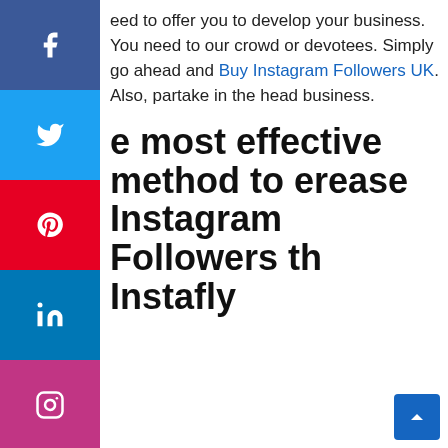eed to offer you to develop your business. You need to our crowd or devotees. Simply go ahead and Buy Instagram Followers UK. Also, partake in the head business.
e most effective method to erease Instagram Followers th Instafly
Instafly is the greatest assistant application for your Instagram accounts. From salesmen to renowned names, many individuals utilize this application. Because of the highlights in it, you can become your individual Instagram accounts along these lines. Instafly ; It has many highlights, for example, programmed follow demand, programmed message sending, programmed likes, coordinated sharing, programmed devotee demand affirmation, programmed companion demand